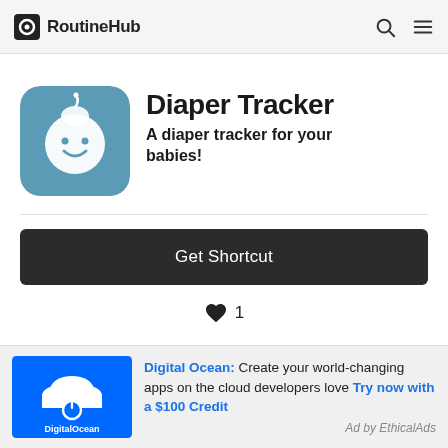RoutineHub
[Figure (logo): RoutineHub logo with search and menu icons in header]
Diaper Tracker
A diaper tracker for your babies!
Get Shortcut
1
Digital Ocean: Create your world-changing apps on the cloud developers love Try now with a $100 Credit
Ad by EthicalAds